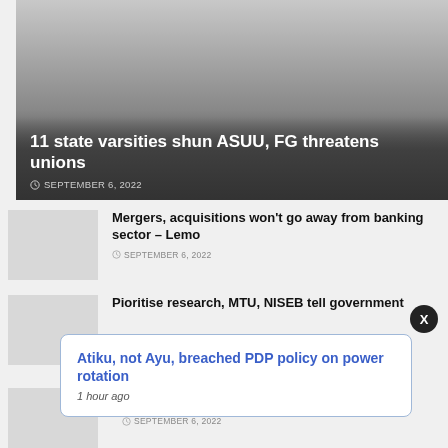[Figure (photo): Hero image area with dark gradient overlay for a news article about state varsities and ASUU]
11 state varsities shun ASUU, FG threatens unions
SEPTEMBER 6, 2022
[Figure (photo): Thumbnail image for banking sector mergers article]
Mergers, acquisitions won't go away from banking sector – Lemo
SEPTEMBER 6, 2022
[Figure (photo): Thumbnail image for research priorities article]
Pioritise research, MTU, NISEB tell government
Atiku, not Ayu, breached PDP policy on power rotation
1 hour ago
[Figure (photo): Partially visible thumbnail image for another article]
SEPTEMBER 6, 2022